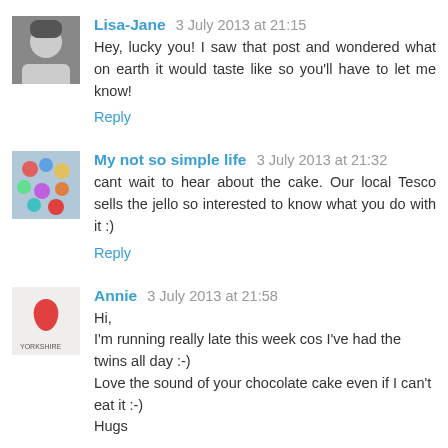Lisa-Jane 3 July 2013 at 21:15
Hey, lucky you! I saw that post and wondered what on earth it would taste like so you'll have to let me know!
Reply
My not so simple life 3 July 2013 at 21:32
cant wait to hear about the cake. Our local Tesco sells the jello so interested to know what you do with it :)
Reply
Annie 3 July 2013 at 21:58
Hi,
I'm running really late this week cos I've had the twins all day :-)
Love the sound of your chocolate cake even if I can't eat it :-)
Hugs